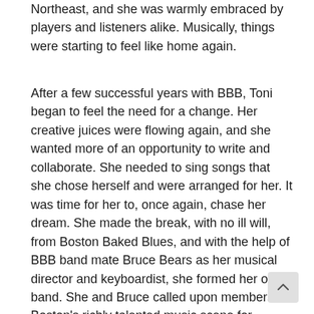Northeast, and she was warmly embraced by players and listeners alike. Musically, things were starting to feel like home again.
After a few successful years with BBB, Toni began to feel the need for a change. Her creative juices were flowing again, and she wanted more of an opportunity to write and collaborate. She needed to sing songs that she chose herself and were arranged for her. It was time for her to, once again, chase her dream. She made the break, with no ill will, from Boston Baked Blues, and with the help of BBB band mate Bruce Bears as her musical director and keyboardist, she formed her own band. She and Bruce called upon members of Boston's richly talented music scene for players, and approached musicians who seemed most likely to «get her to» the sound she wanted.